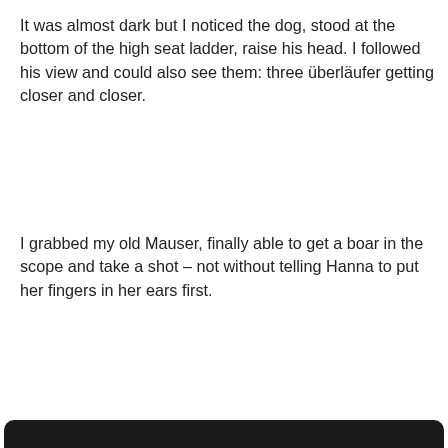It was almost dark but I noticed the dog, stood at the bottom of the high seat ladder, raise his head. I followed his view and could also see them: three überläufer getting closer and closer.
I grabbed my old Mauser, finally able to get a boar in the scope and take a shot – not without telling Hanna to put her fingers in her ears first.
After the bang, the wounded pig didn't go down but disappeared very slowly. I jumped down the ladder and took the German pointer off its lead.
The wild boar rolled over with the dog biting its neck. Just in time, I caught up with the brawl, called my hound and shot the boar.
We use cookies on this website to deliver content to you, personalise content and ads, provide social media features, and analyse our traffic. Click 'I accept' to consent to the use of cookies. More information on cookies and how to manage them  click here
I Accept
Suddenly, there was silence throughout the forest.